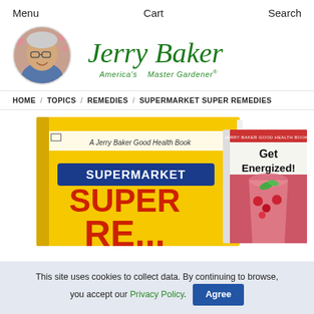Menu   Cart   Search
[Figure (logo): Jerry Baker America's Master Gardener logo with circular photo of Jerry Baker and signature-style text]
HOME / TOPICS / REMEDIES / SUPERMARKET SUPER REMEDIES
[Figure (photo): Two books: 'Supermarket Super Remedies - A Jerry Baker Good Health Book' (yellow cover) and 'Get Energized! - A Jerry Baker Good Health Booklet' (with red drink and berries)]
This site uses cookies to collect data. By continuing to browse, you accept our Privacy Policy. Agree